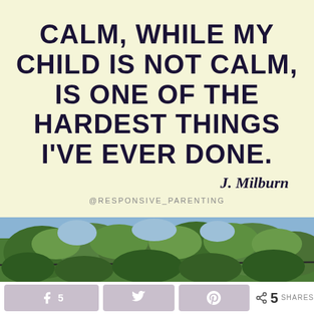CALM, WHILE MY CHILD IS NOT CALM, IS ONE OF THE HARDEST THINGS I'VE EVER DONE. J. Milburn @RESPONSIVE_PARENTING
[Figure (photo): Photo of green leafy trees and branches against a sky, outdoors nature scene]
5  [Facebook share button]  [Twitter share button]  [Pinterest share button]  < 5 SHARES